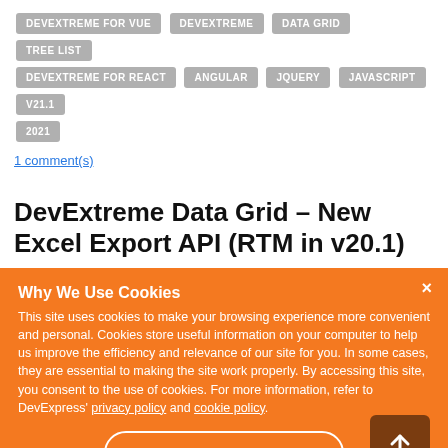DEVEXTREME FOR VUE
DEVEXTREME
DATA GRID
TREE LIST
DEVEXTREME FOR REACT
ANGULAR
JQUERY
JAVASCRIPT
V21.1
2021
1 comment(s)
DevExtreme Data Grid - New Excel Export API (RTM in v20.1)
Why We Use Cookies
This site uses cookies to make your browsing experience more convenient and personal. Cookies store useful information on your computer to help us improve the efficiency and relevance of our site for you. In some cases, they are essential to making the site work properly. By accessing this site, you consent to the use of cookies. For more information, refer to DevExpress' privacy policy and cookie policy.
I UNDERSTAND